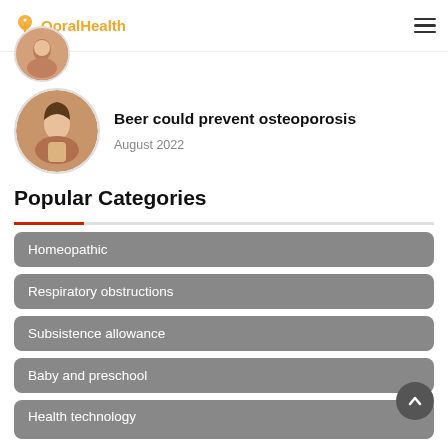QoralHealth
[Figure (photo): Circular avatar photo of a woman, partially cropped at top of page]
[Figure (photo): Circular avatar photo of a young woman holding a beer glass, smiling]
Beer could prevent osteoporosis
August 2022
Popular Categories
Homeopathic
Respiratory obstructions
Subsistence allowance
Baby and preschool
Health technology